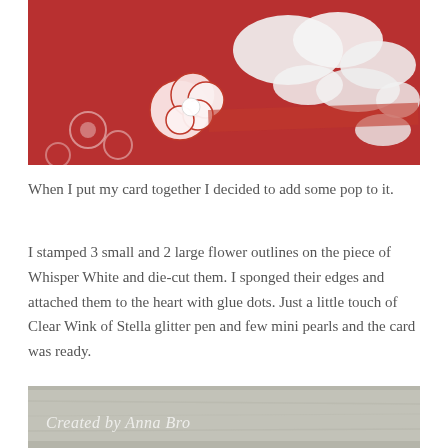[Figure (photo): Close-up photo of a handmade card featuring red and white floral patterns, white glittery butterfly/floral die-cuts, and a small white flower with a pearl center on a red floral patterned background.]
When I put my card together I decided to add some pop to it.
I stamped 3 small and 2 large flower outlines on the piece of Whisper White and die-cut them. I sponged their edges and attached them to the heart with glue dots. Just a little touch of Clear Wink of Stella glitter pen and few mini pearls and the card was ready.
[Figure (photo): Partial photo showing a wooden surface with a watermark reading 'Created by Anna Bro' in italic white text.]